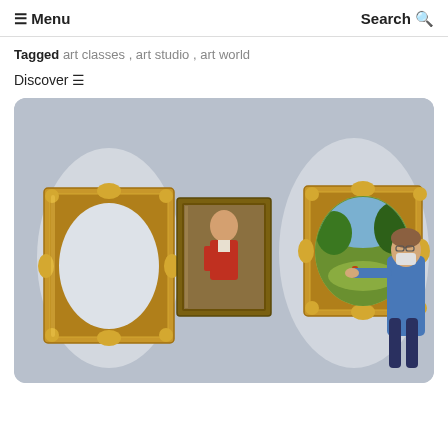☰ Menu   Search 🔍
Tagged  art classes ,  art studio ,  art world
Discover  ☰
[Figure (photo): Gallery room with blue-grey walls showing three ornate gold picture frames. Left frame is empty (oval cutout). Center frame contains a portrait of a man in a red jacket. Right frame contains a landscape painting being placed/handled by a person wearing a blue shirt and face mask.]